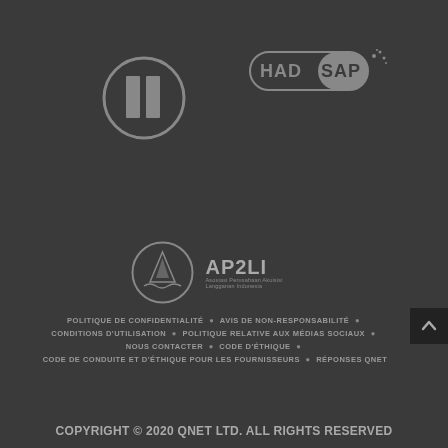[Figure (logo): Circular logo with two vertical rectangles inside, white outline on dark background]
[Figure (logo): HADSAP logo — rounded pill shape with HAD in outline and SAP in filled portion, with small floral decoration]
[Figure (logo): AP2LI logo — circular emblem with spire/mountain silhouette, text AP2LI and Asosiasi Perusahaan Akuisisi Langganan Indonesia]
POLITIQUE DE CONFIDENTIALITÉ  •  AVIS DE NON-RESPONSABILITÉ  •
CONDITIONS D'UTILISATION  •  POLITIQUE RELATIVE AUX MÉDIAS SOCIAUX  •
NOUS CONTACTER  •  CODE D'ÉTHIQUE  •
CODE DE CONDUITE ET D'ÉTHIQUE POUR LES FOURNISSEURS  •  RÉPONSES QNET
COPYRIGHT © 2020 QNET LTD. ALL RIGHTS RESERVED